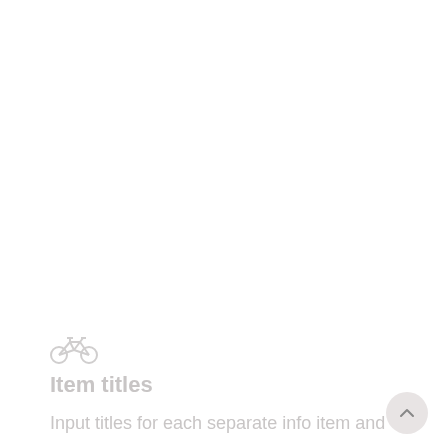[Figure (illustration): A bicycle icon rendered in light gray]
Item titles
Input titles for each separate info item and